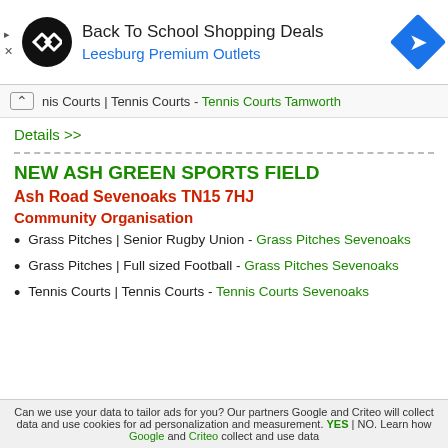[Figure (other): Advertisement banner: Back To School Shopping Deals at Leesburg Premium Outlets with logo and navigation icon]
nis Courts | Tennis Courts - Tennis Courts Tamworth
Details >>
NEW ASH GREEN SPORTS FIELD
Ash Road Sevenoaks TN15 7HJ
Community Organisation
Grass Pitches | Senior Rugby Union - Grass Pitches Sevenoaks
Grass Pitches | Full sized Football - Grass Pitches Sevenoaks
Tennis Courts | Tennis Courts - Tennis Courts Sevenoaks
Can we use your data to tailor ads for you? Our partners Google and Criteo will collect data and use cookies for ad personalization and measurement. YES | NO. Learn how Google and Criteo collect and use data